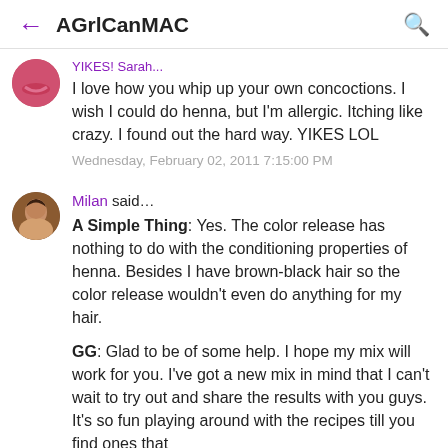AGrlCanMAC
I love how you whip up your own concoctions. I wish I could do henna, but I'm allergic. Itching like crazy. I found out the hard way. YIKES LOL
Wednesday, February 02, 2011 7:15:00 PM
Milan said…
A Simple Thing: Yes. The color release has nothing to do with the conditioning properties of henna. Besides I have brown-black hair so the color release wouldn't even do anything for my hair.

GG: Glad to be of some help. I hope my mix will work for you. I've got a new mix in mind that I can't wait to try out and share the results with you guys. It's so fun playing around with the recipes till you find ones that